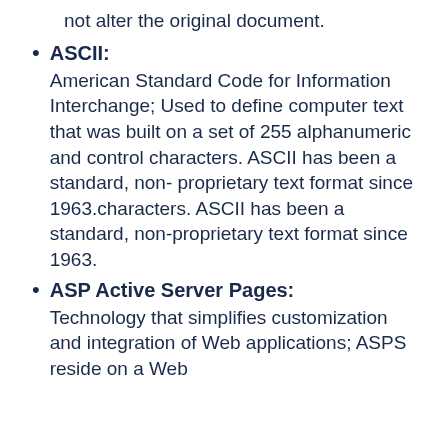not alter the original document.
ASCII: American Standard Code for Information Interchange; Used to define computer text that was built on a set of 255 alphanumeric and control characters. ASCII has been a standard, non- proprietary text format since 1963.characters. ASCII has been a standard, non-proprietary text format since 1963.
ASP Active Server Pages: Technology that simplifies customization and integration of Web applications; ASPS reside on a Web